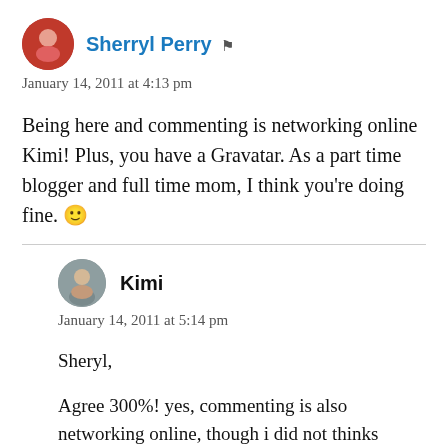Sherryl Perry
January 14, 2011 at 4:13 pm
Being here and commenting is networking online Kimi! Plus, you have a Gravatar. As a part time blogger and full time mom, I think you’re doing fine. 🙂
Kimi
January 14, 2011 at 5:14 pm
Sheryl,
Agree 300%! yes, commenting is also networking online, though i did not thinks